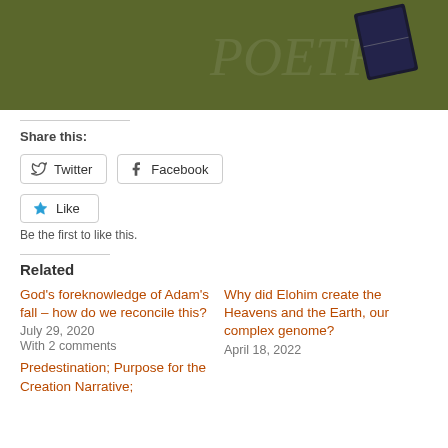[Figure (photo): Banner image with olive/green background showing Bible quote text and a dark Bible book icon on the right. Text: 'Christ Jesus, who has destroyed death and has brought life and immortality to light through the gospel. 2 Timothy 1:8-10']
Share this:
Twitter   Facebook
Like
Be the first to like this.
Related
God's foreknowledge of Adam's fall – how do we reconcile this?
July 29, 2020
With 2 comments
Why did Elohim create the Heavens and the Earth, our complex genome?
April 18, 2022
Predestination; Purpose for the Creation Narrative;